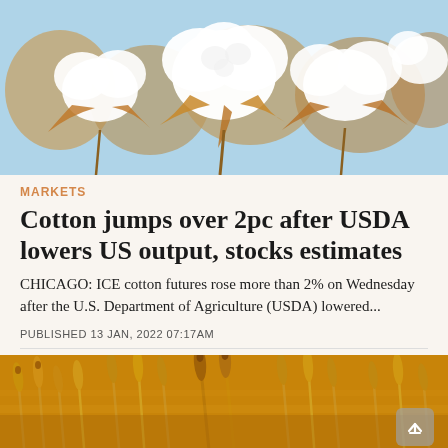[Figure (photo): Close-up photograph of white cotton bolls on branches against a light blue sky background]
MARKETS
Cotton jumps over 2pc after USDA lowers US output, stocks estimates
CHICAGO: ICE cotton futures rose more than 2% on Wednesday after the U.S. Department of Agriculture (USDA) lowered...
PUBLISHED 13 JAN, 2022 07:17AM
[Figure (photo): Close-up photograph of golden wheat stalks in a field]